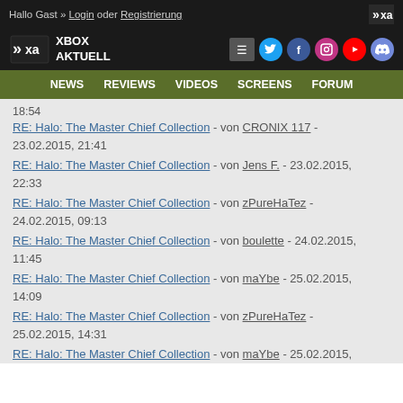Hallo Gast » Login oder Registrierung
[Figure (logo): Xbox Aktuell logo with XA symbol]
NEWS  REVIEWS  VIDEOS  SCREENS  FORUM
18:54
RE: Halo: The Master Chief Collection - von CRONIX 117 - 23.02.2015, 21:41
RE: Halo: The Master Chief Collection - von Jens F. - 23.02.2015, 22:33
RE: Halo: The Master Chief Collection - von zPureHaTez - 24.02.2015, 09:13
RE: Halo: The Master Chief Collection - von boulette - 24.02.2015, 11:45
RE: Halo: The Master Chief Collection - von maYbe - 25.02.2015, 14:09
RE: Halo: The Master Chief Collection - von zPureHaTez - 25.02.2015, 14:31
RE: Halo: The Master Chief Collection - von maYbe - 25.02.2015,